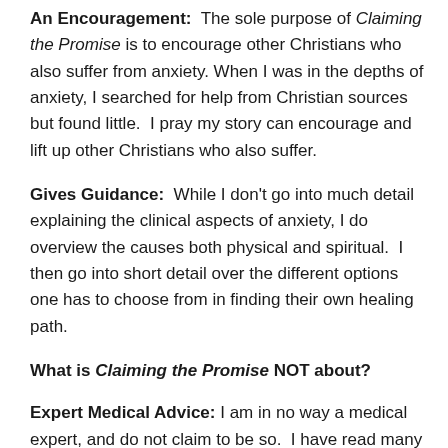An Encouragement: The sole purpose of Claiming the Promise is to encourage other Christians who also suffer from anxiety. When I was in the depths of anxiety, I searched for help from Christian sources but found little. I pray my story can encourage and lift up other Christians who also suffer.
Gives Guidance: While I don't go into much detail explaining the clinical aspects of anxiety, I do overview the causes both physical and spiritual. I then go into short detail over the different options one has to choose from in finding their own healing path.
What is Claiming the Promise NOT about?
Expert Medical Advice: I am in no way a medical expert, and do not claim to be so. I have read many books and articles written by medical experts (both Christian and secular) about anxiety. I